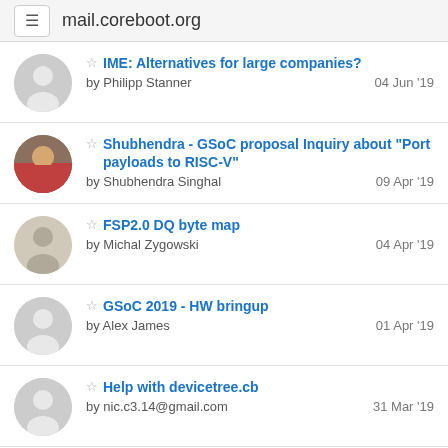mail.coreboot.org
IME: Alternatives for large companies? by Philipp Stanner 04 Jun '19
Shubhendra - GSoC proposal Inquiry about "Port payloads to RISC-V" by Shubhendra Singhal 09 Apr '19
FSP2.0 DQ byte map by Michal Zygowski 04 Apr '19
GSoC 2019 - HW bringup by Alex James 01 Apr '19
Help with devicetree.cb by nic.c3.14@gmail.com 31 Mar '19